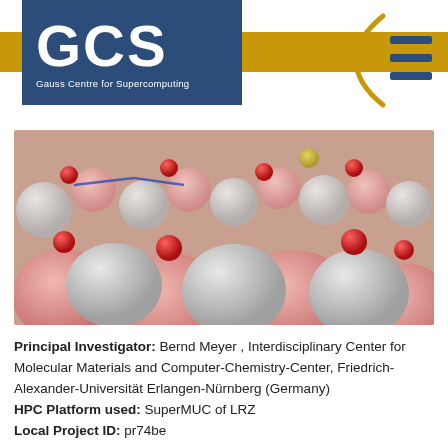[Figure (logo): GCS - Gauss Centre for Supercomputing logo with dark blue background, white GCS text, gold horizontal bar, and menu icon with parenthesis symbol on the right]
[Figure (photo): Molecular dynamics simulation image showing water molecules on a surface - pink/red and grey spheres representing atoms in a 3D rendered scene]
Principal Investigator: Bernd Meyer , Interdisciplinary Center for Molecular Materials and Computer-Chemistry-Center, Friedrich-Alexander-Universität Erlangen-Nürnberg (Germany)
HPC Platform used: SuperMUC of LRZ
Local Project ID: pr74be